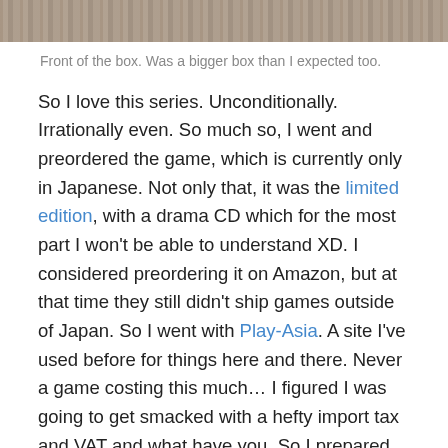[Figure (photo): Top portion of an image showing a textured surface (appears to be front of a box), cropped at the top of the page.]
Front of the box. Was a bigger box than I expected too.
So I love this series. Unconditionally. Irrationally even. So much so, I went and preordered the game, which is currently only in Japanese. Not only that, it was the limited edition, with a drama CD which for the most part I won't be able to understand XD. I considered preordering it on Amazon, but at that time they still didn't ship games outside of Japan. So I went with Play-Asia. A site I've used before for things here and there. Never a game costing this much… I figured I was going to get smacked with a hefty import tax and VAT and what have you. So I prepared myself mentally. Hell. It was only shipped last week pretty much, 2 weeks tops, so I wasn't expecting anything to arrive yet, usually Play-Asia's shipping is pretty slow…. so you can imagine my shock and delight when it